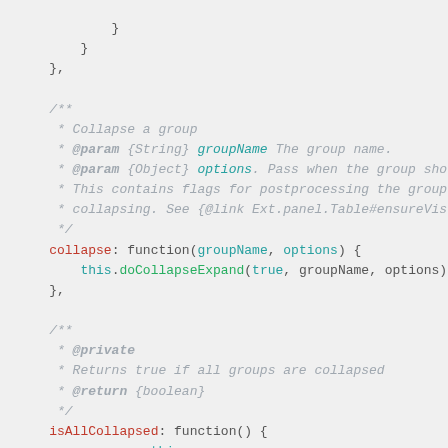Code snippet showing collapse and isAllCollapsed functions with JSDoc comments in JavaScript